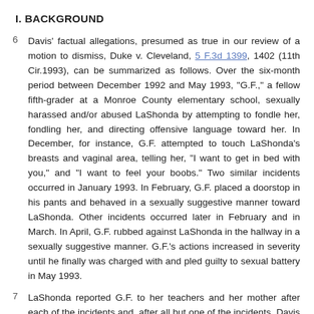I. BACKGROUND
Davis' factual allegations, presumed as true in our review of a motion to dismiss, Duke v. Cleveland, 5 F.3d 1399, 1402 (11th Cir.1993), can be summarized as follows. Over the six-month period between December 1992 and May 1993, "G.F.," a fellow fifth-grader at a Monroe County elementary school, sexually harassed and/or abused LaShonda by attempting to fondle her, fondling her, and directing offensive language toward her. In December, for instance, G.F. attempted to touch LaShonda's breasts and vaginal area, telling her, "I want to get in bed with you," and "I want to feel your boobs." Two similar incidents occurred in January 1993. In February, G.F. placed a doorstop in his pants and behaved in a sexually suggestive manner toward LaShonda. Other incidents occurred later in February and in March. In April, G.F. rubbed against LaShonda in the hallway in a sexually suggestive manner. G.F.'s actions increased in severity until he finally was charged with and pled guilty to sexual battery in May 1993.
LaShonda reported G.F. to her teachers and her mother after each of the incidents and, after all but one of the incidents, Davis called